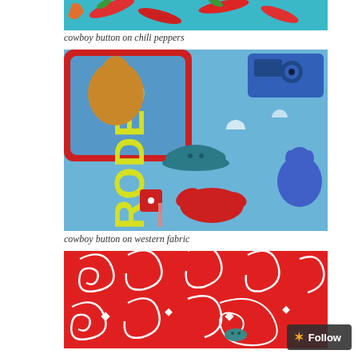[Figure (photo): Close-up photo of cowboy button on chili peppers fabric, showing red chili peppers on teal/turquoise background]
cowboy button on chili peppers
[Figure (photo): Close-up photo of a teal cowboy hat shaped button placed on blue western rodeo themed fabric with cartoon animals and rodeo graphics]
cowboy button on western fabric
[Figure (photo): Close-up photo of red bandana/paisley patterned fabric with white swirling designs and a small teal button visible]